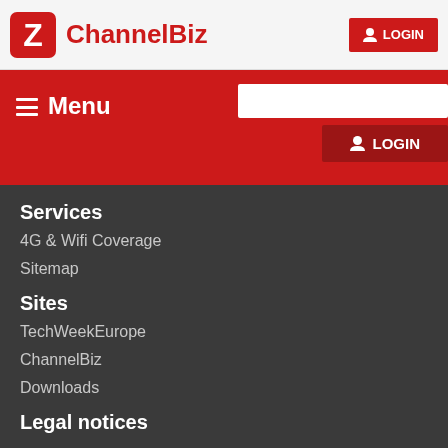ChannelBiz — LOGIN
Menu
Services
4G & Wifi Coverage
Sitemap
Sites
TechWeekEurope
ChannelBiz
Downloads
Legal notices